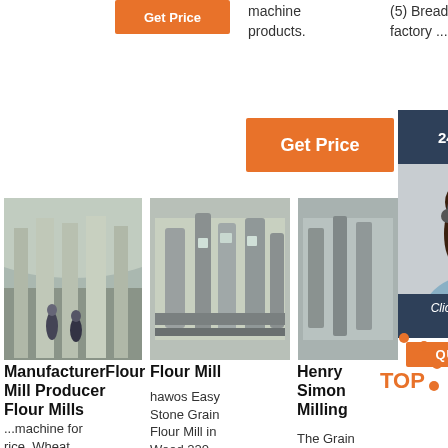[Figure (screenshot): Orange Get Price button at top left of page]
machine products.
(5) Bread, factory ...
[Figure (screenshot): Orange Get Price button in middle area]
[Figure (screenshot): 24/7 Online dark navy bar with customer service representative photo and chat overlay with QUOTATION button]
[Figure (photo): Interior of flour mill manufacturing facility with machinery and workers]
[Figure (photo): Flour mill industrial machinery equipment]
Manufacturer Producer Flour Mills
Flour Mill
Henry Simon Milling
...machine for rice, Wheat,
hawos Easy Stone Grain Flour Mill in Wood 220-
The Grain Seperator can